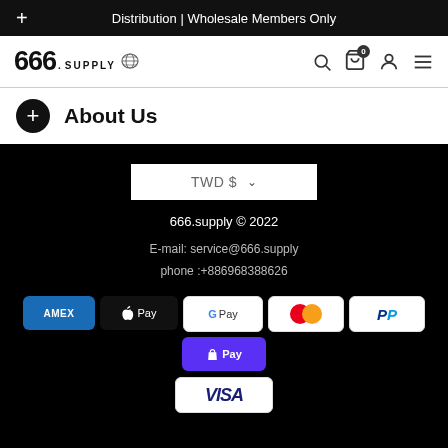Distribution | Wholesale Members Only
[Figure (logo): 666.supply logo with globe icon]
About Us
TWD $
666.supply © 2022
E-mail: service@666.supply
phone :+886968388626
[Figure (infographic): Payment method icons: AMEX, Apple Pay, Google Pay, Mastercard, PayPal, Shop Pay, VISA]